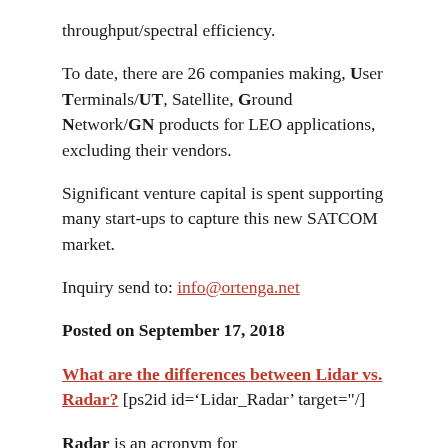throughput/spectral efficiency.
To date, there are 26 companies making, User Terminals/UT, Satellite, Ground Network/GN products for LEO applications, excluding their vendors.
Significant venture capital is spent supporting many start-ups to capture this new SATCOM market.
Inquiry send to: info@ortenga.net
Posted on September 17, 2018
What are the differences between Lidar vs. Radar? [ps2id id=‘Lidar_Radar’ target="/]
Radar is an acronym for